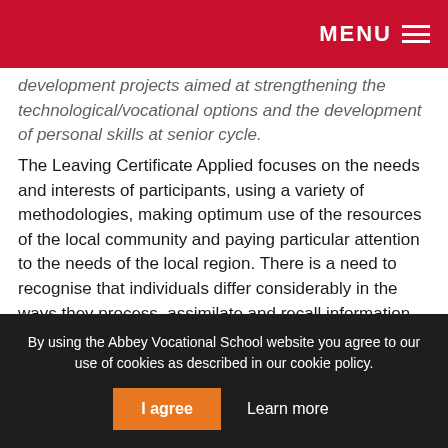MENU
development projects aimed at strengthening the technological/vocational options and the development of personal skills at senior cycle.
The Leaving Certificate Applied focuses on the needs and interests of participants, using a variety of methodologies, making optimum use of the resources of the local community and paying particular attention to the needs of the local region. There is a need to recognise that individuals differ considerably in the ways they process, assimilate and recall information.
The Junior Certificate provides the foundation for this development and continuity of this programme is an important guiding consideration.
By using the Abbey Vocational School website you agree to our use of cookies as described in our cookie policy.